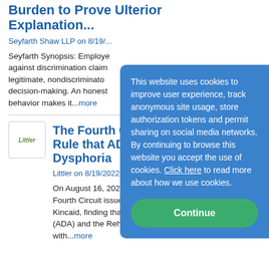Burden to Prove Ulterior Explanation...
Seyfarth Shaw LLP on 8/19/...
Seyfarth Synopsis: Employe... against discrimination claim... legitimate, nondiscriminato... decision-making. An honest... behavior makes it...more
The Fourth Circu... Rule that ADA P... Dysphoria
Littler on 8/19/2022
On August 16, 2022, the U.S. Fourth Circuit issued a landi... Kincaid, finding that the Am... (ADA) and the Rehabilitatio... with...more
This website uses cookies to improve user experience, track anonymous site usage, store authorization tokens and permit sharing on social media networks. By continuing to browse this website you accept the use of cookies. Click here to read more about how we use cookies.